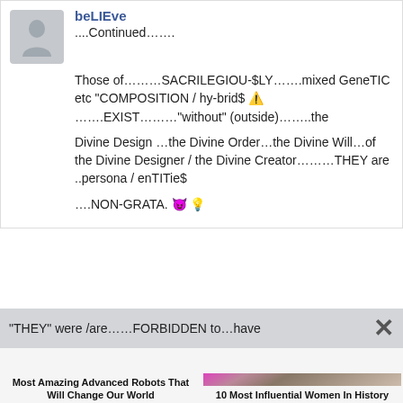beLIEve
....Continued........
Those of.........SACRILEGIOU-$LY.......mixed GeneTIC etc “COMPOSITION / hy-brid$ ⚠️ .......EXIST........“without” (outside)........the
Divine Design ...the Divine Order...the Divine Will...of the Divine Designer / the Divine Creator.........THEY are ..persona / enTITie$
....NON-GRATA. 😈 💡
“THEY” were /are......FORBIDDEN to...have
READ MORE mgid ▶
Most Amazing Advanced Robots That Will Change Our World
10 Most Influential Women In History